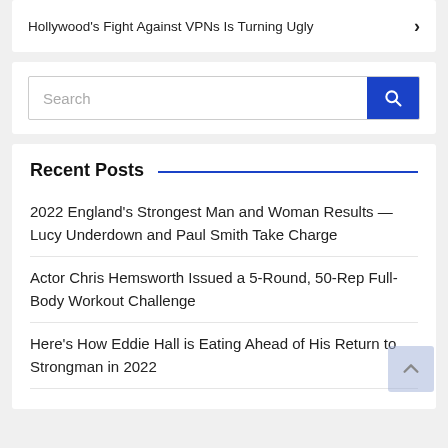Hollywood's Fight Against VPNs Is Turning Ugly
Search
Recent Posts
2022 England's Strongest Man and Woman Results — Lucy Underdown and Paul Smith Take Charge
Actor Chris Hemsworth Issued a 5-Round, 50-Rep Full-Body Workout Challenge
Here's How Eddie Hall is Eating Ahead of His Return to Strongman in 2022